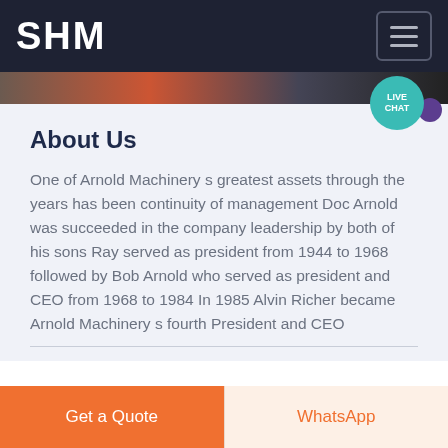SHM
About Us
One of Arnold Machinery s greatest assets through the years has been continuity of management Doc Arnold was succeeded in the company leadership by both of his sons Ray served as president from 1944 to 1968 followed by Bob Arnold who served as president and CEO from 1968 to 1984 In 1985 Alvin Richer became Arnold Machinery s fourth President and CEO